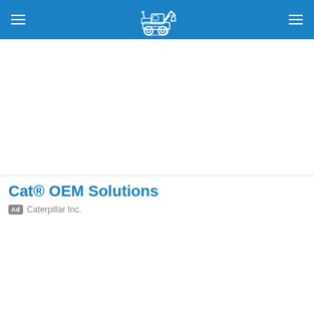Navigation header with logo (construction equipment illustration) and hamburger menus on left and right
[Figure (logo): White illustration of a construction vehicle/loader on a blue background header bar]
Cat® OEM Solutions
Ad  Caterpillar Inc.